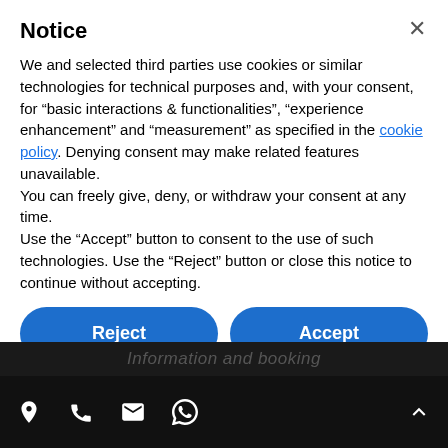Notice
We and selected third parties use cookies or similar technologies for technical purposes and, with your consent, for “basic interactions & functionalities”, “experience enhancement” and “measurement” as specified in the cookie policy. Denying consent may make related features unavailable.
You can freely give, deny, or withdraw your consent at any time.
Use the “Accept” button to consent to the use of such technologies. Use the “Reject” button or close this notice to continue without accepting.
Reject
Accept
Learn more and customize
Information and booking